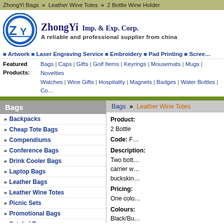ZhongYi Bags >> Leather Wine Totes >> 2 Bottle Wine Holder
[Figure (logo): ZhongYi circular logo with stylized ZY letters]
ZhongYi Imp. & Exp. Corp. — A reliable and professional supplier from china
Artwork | Laser Engraving Service | Embroidery | Pad Printing | Screen...
Featured Products: Bags | Caps | Gifts | Golf Items | Keyrings | Mousemats | Mugs | Novelties | Watches | Wine Gifts | Hospitality | Magnets | Badges | Water Bottles | Co...
Bags
Bags >> Leather Wine Totes
Backpacks
Cheap Tote Bags
Compendiums
Conference Bags
Drink Cooler Bags
Laptop Bags
Leather Bags
Leather Wine Totes
Picnic Sets
Promotional Bags
Satchel Bags
Product: 2 Bottle
Code: F...
Description: Two bott... carrier w... buckskin...
Pricing: One colo...
Colours: Black/Bu...
Product: Holds 2...